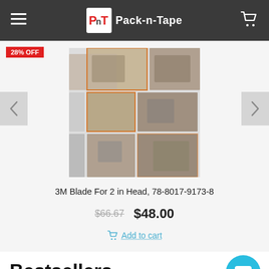Pack-n-Tape
[Figure (screenshot): Product image mosaic showing 3M tape dispensers and related packaging equipment in various configurations]
28% OFF
3M Blade For 2 in Head, 78-8017-9173-8
$66.67  $48.00
Add to cart
Bestsellers